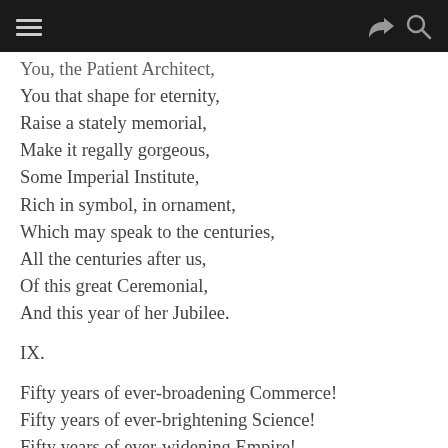[navigation bar with menu, share, and search icons]
You, the Patient Architect,
You that shape for eternity,
Raise a stately memorial,
Make it regally gorgeous,
Some Imperial Institute,
Rich in symbol, in ornament,
Which may speak to the centuries,
All the centuries after us,
Of this great Ceremonial,
And this year of her Jubilee.
IX.
Fifty years of ever-broadening Commerce!
Fifty years of ever-brightening Science!
Fifty years of ever-widening Empire!